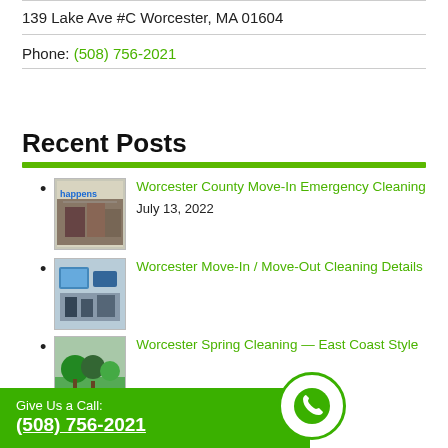139 Lake Ave #C Worcester, MA 01604
Phone: (508) 756-2021
Recent Posts
Worcester County Move-In Emergency Cleaning
July 13, 2022
Worcester Move-In / Move-Out Cleaning Details
Worcester Spring Cleaning — East Coast Style
Give Us a Call:
(508) 756-2021